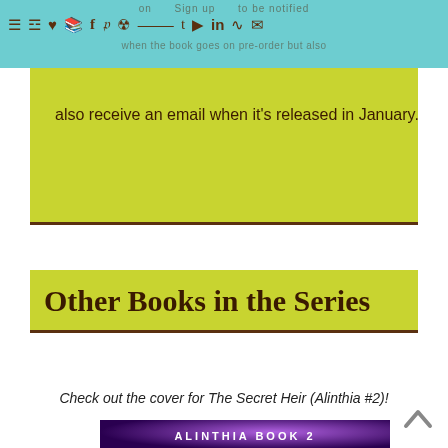on  Sign up  to be notified when the book goes on pre-order but also receive an email when it's released in January.
also receive an email when it's released in January.
Other Books in the Series
Check out the cover for The Secret Heir (Alinthia #2)!
[Figure (photo): Book cover for Alinthia Book 2 showing a young blonde woman with purple starry sky and large moon background, with text 'ALINTHIA BOOK 2' at the top.]